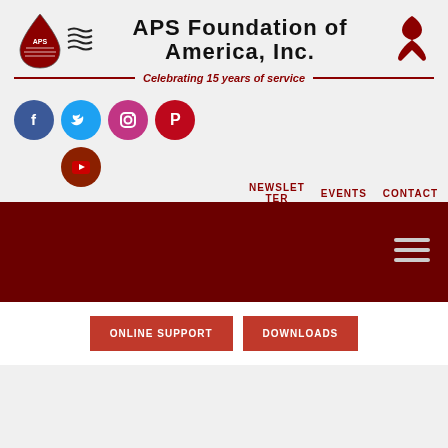[Figure (logo): APS Foundation of America, Inc. logo with blood drop and awareness ribbon, tagline: Celebrating 15 years of service]
[Figure (infographic): Social media icons: Facebook (blue circle), Twitter (light blue circle), Instagram (pink circle), Pinterest (red circle), YouTube (dark red circle)]
NEWSLETTER  EVENTS  CONTACT
[Figure (infographic): Dark red navigation banner with hamburger menu icon]
ONLINE SUPPORT
DOWNLOADS